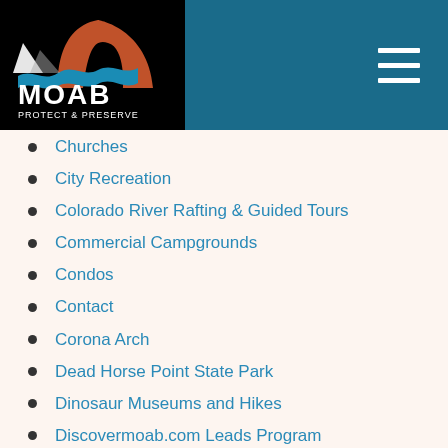[Figure (logo): Moab Protect & Preserve logo with mountain and arch silhouette on black background, with teal header bar and hamburger menu icon]
Churches
City Recreation
Colorado River Rafting & Guided Tours
Commercial Campgrounds
Condos
Contact
Corona Arch
Dead Horse Point State Park
Dinosaur Museums and Hikes
Discovermoab.com Leads Program
E-Bike Guide to Moab
Event Submission
Family Activities
Family Activities – Arches